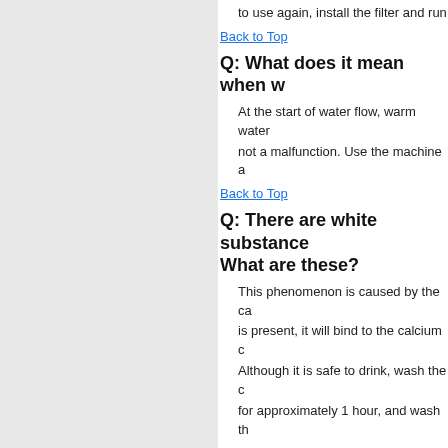to use again, install the filter and run
Back to Top
Q: What does it mean when w
At the start of water flow, warm water
not a malfunction. Use the machine a
Back to Top
Q: There are white substance
What are these?
This phenomenon is caused by the ca
is present, it will bind to the calcium c
Although it is safe to drink, wash the o
for approximately 1 hour, and wash th
Back to Top
Q: What is hard water?
According to the U.S. Geological Sur
when naturally occurring minerals en
common types of minerals found in h
United States defines hard water o